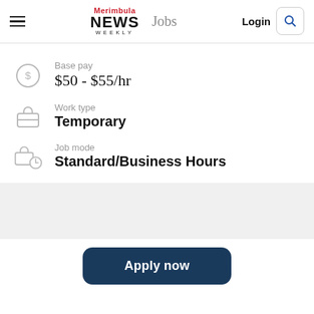Merimbula NEWS WEEKLY  Jobs  Login
Base pay
$50 - $55/hr
Work type
Temporary
Job mode
Standard/Business Hours
Apply now